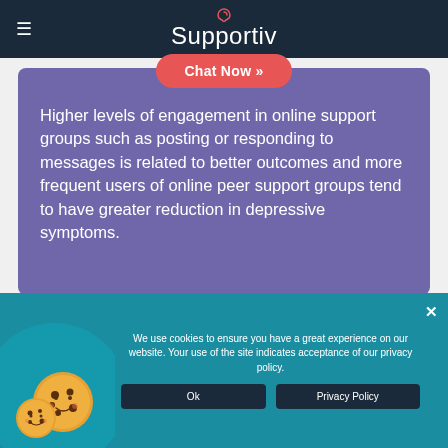Supportiv
Chat Now »
Higher levels of engagement in online support groups such as posting or responding to messages is related to better outcomes and more frequent users of online peer support groups tend to have greater reduction in depressive symptoms.
We use cookies to ensure you have a great experience on our website. Your use of the site indicates acceptance of our privacy policy.
Ok
Privacy Policy